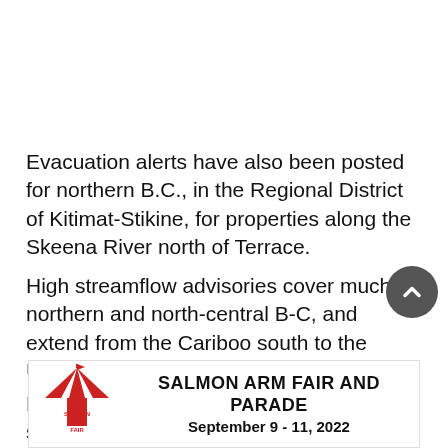Evacuation alerts have also been posted for northern B.C., in the Regional District of Kitimat-Stikine, for properties along the Skeena River north of Terrace.
High streamflow advisories cover much of northern and north-central B-C, and extend from the Cariboo south to the United States border.
Forecasters say current modelling suggests rain and snowmolt could cause some flooding this weekend, wi...
[Figure (infographic): Advertisement banner for Salmon Arm Fair and Parade, September 9-11, 2022, with fair logo on the left]